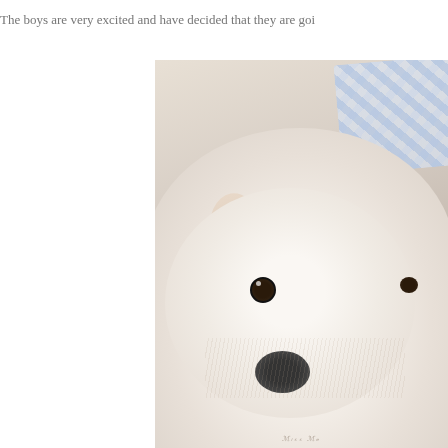The boys are very excited and have decided that they are goi...
[Figure (photo): A white fluffy dog (likely a West Highland White Terrier or similar breed) being held by a person wearing a blue plaid/checkered top. The dog is looking toward the camera. Photo has a soft, warm, vintage-style tone with muted beige/grey background.]